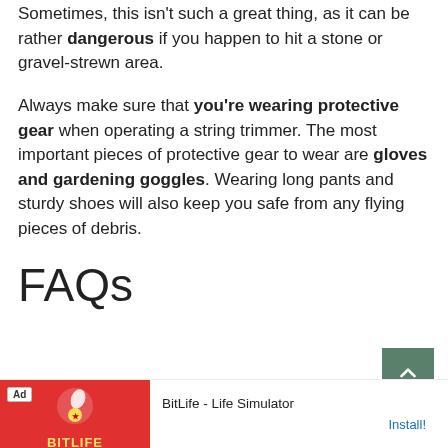Sometimes, this isn't such a great thing, as it can be rather dangerous if you happen to hit a stone or gravel-strewn area.
Always make sure that you're wearing protective gear when operating a string trimmer. The most important pieces of protective gear to wear are gloves and gardening goggles. Wearing long pants and sturdy shoes will also keep you safe from any flying pieces of debris.
FAQs
Are electric string trimmers any good?
[Figure (screenshot): Advertisement banner for BitLife - Life Simulator app with red background and install button]